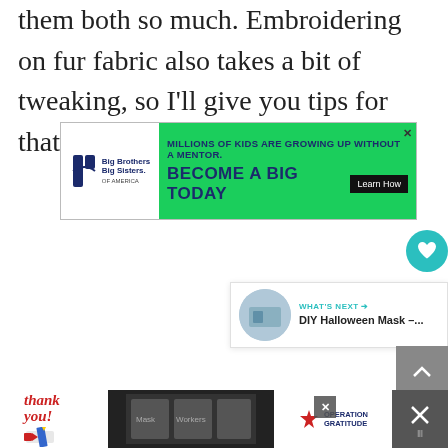them both so much. Embroidering on fur fabric also takes a bit of tweaking, so I'll give you tips for that in this post as well.
[Figure (screenshot): Advertisement banner for Big Brothers Big Sisters of America. Green background with text 'MILLIONS OF KIDS ARE GROWING UP WITHOUT A MENTOR. BECOME A BIG TODAY' with a 'Learn How' button.]
[Figure (screenshot): UI overlay elements: heart/favorite button (teal circle), share button (white circle with share icon), 'WHAT'S NEXT' panel showing 'DIY Halloween Mask -...' with thumbnail, scroll-up button.]
[Figure (screenshot): Bottom advertisement banner for Operation Gratitude. Shows 'Thank you!' handwritten text with American flag pencil on left, photo of masked healthcare workers in middle, Operation Gratitude logo on right.]